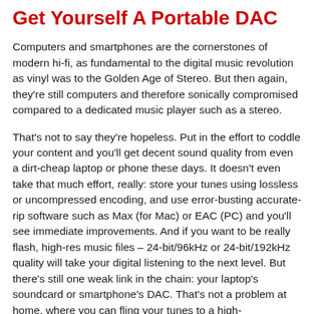Get Yourself A Portable DAC
Computers and smartphones are the cornerstones of modern hi-fi, as fundamental to the digital music revolution as vinyl was to the Golden Age of Stereo. But then again, they're still computers and therefore sonically compromised compared to a dedicated music player such as a stereo.
That's not to say they're hopeless. Put in the effort to coddle your content and you'll get decent sound quality from even a dirt-cheap laptop or phone these days. It doesn't even take that much effort, really: store your tunes using lossless or uncompressed encoding, and use error-busting accurate-rip software such as Max (for Mac) or EAC (PC) and you'll see immediate improvements. And if you want to be really flash, high-res music files – 24-bit/96kHz or 24-bit/192kHz quality will take your digital listening to the next level. But there's still one weak link in the chain: your laptop's soundcard or smartphone's DAC. That's not a problem at home, where you can fling your tunes to a high-